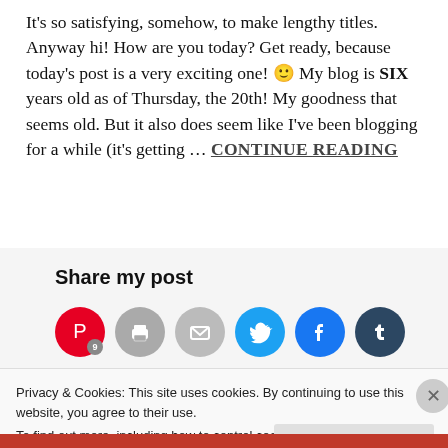It's so satisfying, somehow, to make lengthy titles. Anyway hi! How are you today? Get ready, because today's post is a very exciting one! 🙂 My blog is SIX years old as of Thursday, the 20th! My goodness that seems old. But it also does seem like I've been blogging for a while (it's getting … CONTINUE READING
Share my post
[Figure (infographic): Social share buttons: Pinterest (with badge 9), Print, Email, Twitter, Facebook, Tumblr]
Privacy & Cookies: This site uses cookies. By continuing to use this website, you agree to their use.
To find out more, including how to control cookies, see here: Cookie Policy
Close and accept